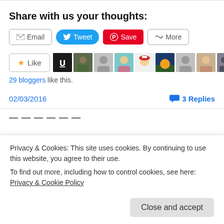Share with us your thoughts:
[Figure (other): Social sharing buttons: Email, Tweet, Save (Pinterest), More]
[Figure (other): Like button with star icon and row of 10 blogger avatars]
29 bloggers like this.
02/03/2016
3 Replies
Privacy & Cookies: This site uses cookies. By continuing to use this website, you agree to their use. To find out more, including how to control cookies, see here: Privacy & Cookie Policy
Close and accept